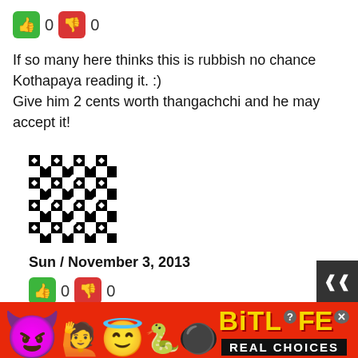[Figure (infographic): Thumbs up (green) and thumbs down (red) vote buttons with counts: 0 and 0]
If so many here thinks this is rubbish no chance Kothapaya reading it. :)
Give him 2 cents worth thangachchi and he may accept it!
[Figure (illustration): Black and white geometric patterned avatar/profile image]
Sun / November 3, 2013
[Figure (infographic): Thumbs up (green) and thumbs down (red) vote buttons with counts: 0 and 0]
I have already passed it to Gotabaya and CW secretariat in London. Dont worry
[Figure (infographic): BitLife advertisement banner with emoji characters and REAL CHOICES text]